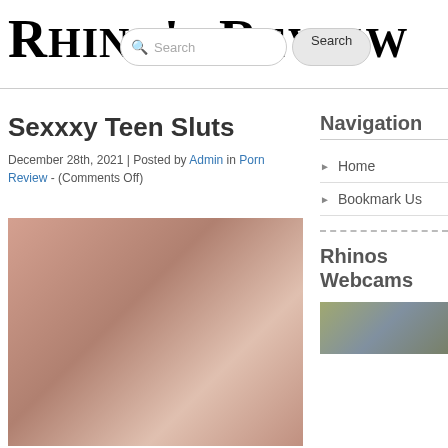Rhino's Review
Sexxxy Teen Sluts
December 28th, 2021 | Posted by Admin in Porn Review - (Comments Off)
[Figure (photo): Adult content image]
Navigation
Home
Bookmark Us
Rhinos Webcams
[Figure (photo): Webcam thumbnail image]